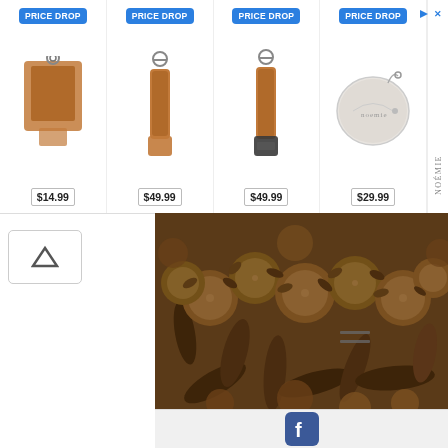[Figure (infographic): Ad bar with 4 product tiles labeled PRICE DROP. Items: leather keychain pouch $14.99, brown leather USB fob $49.99, another brown leather USB fob $49.99, white circular coin purse $29.99. To the right a Noémie brand logo area with arrows icon.]
[Figure (photo): Close-up photograph of dried cloves — brown, knobby dried flower buds piled together.]
Sweet, penetrating and numbing. Cloves are dried flowerbuds with an intense, powerful flavour. They are short brown sticks with an unopened bud on top and small 'leaves' surrounding the bud. This spice has a  potent flavour which is sweet and almost bitter. They contain trace amounts of an astringent, which creates a numbing feeling. Cloves are commonly used in Biryani, as an essential part of Garam Masala and other spice blends, and of course in Masala Chai. It pairs well with other aromatics like Star Anise, Peppercorns